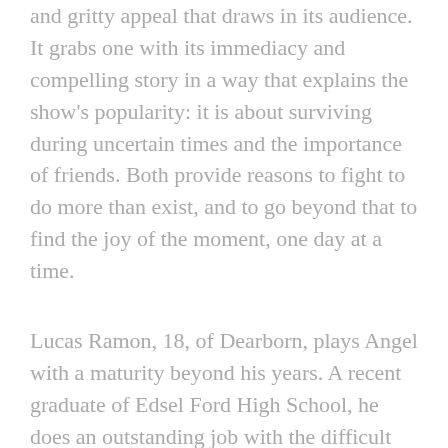and gritty appeal that draws in its audience. It grabs one with its immediacy and compelling story in a way that explains the show's popularity: it is about surviving during uncertain times and the importance of friends. Both provide reasons to fight to do more than exist, and to go beyond that to find the joy of the moment, one day at a time.
Lucas Ramon, 18, of Dearborn, plays Angel with a maturity beyond his years. A recent graduate of Edsel Ford High School, he does an outstanding job with the difficult role of a petite yet big-hearted young drag queen dying of AIDS.
Nick Rapson, 22, of Canton Township, portrays Tom Collins with a quiet yet intense devotion to